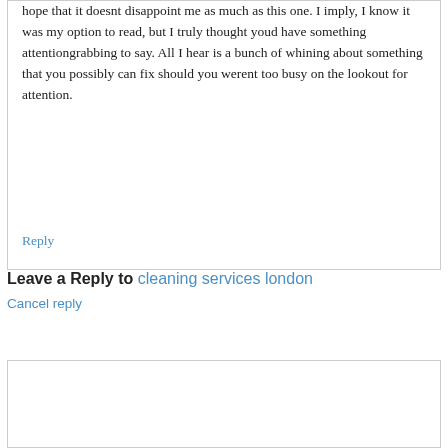hope that it doesnt disappoint me as much as this one. I imply, I know it was my option to read, but I truly thought youd have something attentiongrabbing to say. All I hear is a bunch of whining about something that you possibly can fix should you werent too busy on the lookout for attention.
Reply
Leave a Reply to cleaning services london
Cancel reply